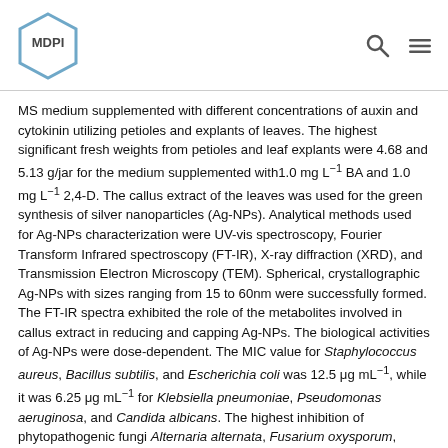MDPI logo with search and menu icons
MS medium supplemented with different concentrations of auxin and cytokinin utilizing petioles and explants of leaves. The highest significant fresh weights from petioles and leaf explants were 4.68 and 5.13 g/jar for the medium supplemented with1.0 mg L⁻¹ BA and 1.0 mg L⁻¹ 2,4-D. The callus extract of the leaves was used for the green synthesis of silver nanoparticles (Ag-NPs). Analytical methods used for Ag-NPs characterization were UV-vis spectroscopy, Fourier Transform Infrared spectroscopy (FT-IR), X-ray diffraction (XRD), and Transmission Electron Microscopy (TEM). Spherical, crystallographic Ag-NPs with sizes ranging from 15 to 60nm were successfully formed. The FT-IR spectra exhibited the role of the metabolites involved in callus extract in reducing and capping Ag-NPs. The biological activities of Ag-NPs were dose-dependent. The MIC value for Staphylococcus aureus, Bacillus subtilis, and Escherichia coli was 12.5 μg mL⁻¹, while it was 6.25 μg mL⁻¹ for Klebsiella pneumoniae, Pseudomonas aeruginosa, and Candida albicans. The highest inhibition of phytopathogenic fungi Alternaria alternata, Fusarium oxysporum, Aspergillus niger, and Pythium ultimum was 76.3 ± 3.7, 88.9 ± 4.1, 67.8 ± 2.1, and 76.4 ± 1.0%, respectively at 200 μg mL⁻¹. Moreover, green synthesized Ag-NPs showed cytotoxic efficacy against